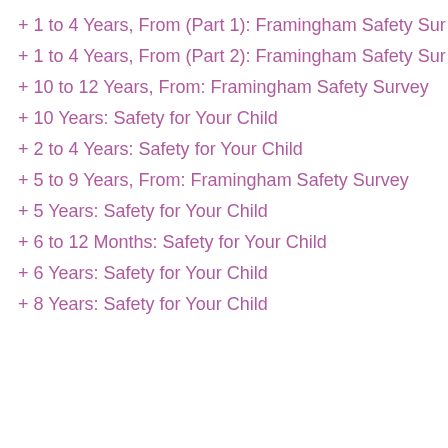+ 1 to 4 Years, From (Part 1): Framingham Safety Sur…
+ 1 to 4 Years, From (Part 2): Framingham Safety Sur…
+ 10 to 12 Years, From: Framingham Safety Survey
+ 10 Years: Safety for Your Child
+ 2 to 4 Years: Safety for Your Child
+ 5 to 9 Years, From: Framingham Safety Survey
+ 5 Years: Safety for Your Child
+ 6 to 12 Months: Safety for Your Child
+ 6 Years: Safety for Your Child
+ 8 Years: Safety for Your Child